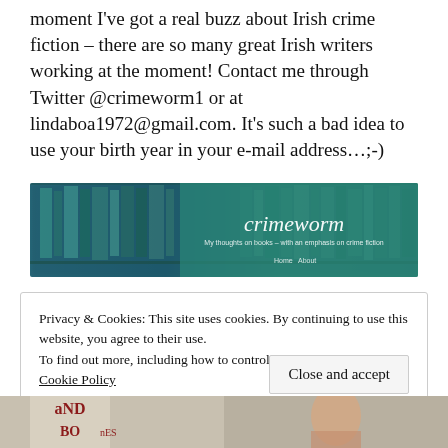moment I've got a real buzz about Irish crime fiction – there are so many great Irish writers working at the moment! Contact me through Twitter @crimeworm1 or at lindaboa1972@gmail.com. It's such a bad idea to use your birth year in your e-mail address…;-)
[Figure (screenshot): Screenshot of the crimeworm blog website showing a banner with a library/bookshelf background image in teal tones, with the blog title 'crimeworm' in cursive white text and subtitle 'My thoughts on books – with an emphasis on crime fiction', plus navigation links Home and About.]
Privacy & Cookies: This site uses cookies. By continuing to use this website, you agree to their use.
To find out more, including how to control cookies, see here:
Cookie Policy
Close and accept
[Figure (photo): Partial view of two book covers or images at the bottom of the page.]